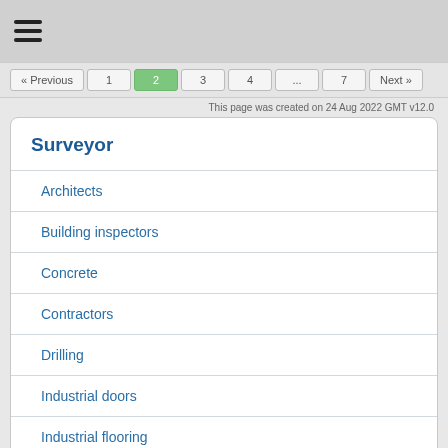≡
« Previous  1  2  3  4  ...  7  Next »
This page was created on 24 Aug 2022 GMT v12.0
Surveyor
Architects
Building inspectors
Concrete
Contractors
Drilling
Industrial doors
Industrial flooring
Materials